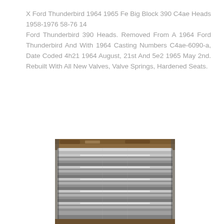X Ford Thunderbird 1964 1965 Fe Big Block 390 C4ae Heads 1958-1976 58-76 14
Ford Thunderbird 390 Heads. Removed From A 1964 Ford Thunderbird And With 1964 Casting Numbers C4ae-6090-a, Date Coded 4h21 1964 August, 21st And 5e2 1965 May 2nd. Rebuilt With All New Valves, Valve Springs, Hardened Seats.
[Figure (photo): Close-up photograph of a Ford Thunderbird 390 engine cylinder head showing valve springs and metallic components, chrome and silver tones.]